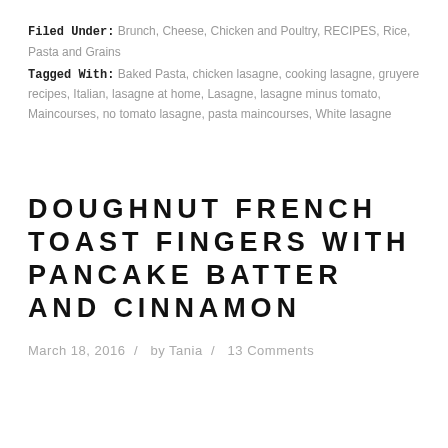Filed Under: Brunch, Cheese, Chicken and Poultry, RECIPES, Rice, Pasta and Grains
Tagged With: Baked Pasta, chicken lasagne, cooking lasagne, gruyere recipes, Italian, lasagne at home, Lasagne, lasagne minus tomato, Maincourses, no tomato lasagne, pasta maincourses, White lasagne
DOUGHNUT FRENCH TOAST FINGERS WITH PANCAKE BATTER AND CINNAMON
March 18, 2016  /   by Tania  /   13 Comments